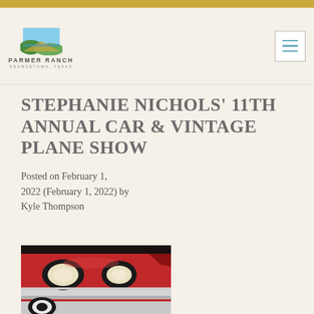Parmer Ranch — Georgetown, Texas
STEPHANIE NICHOLS' 11TH ANNUAL CAR & VINTAGE PLANE SHOW
Posted on February 1, 2022 (February 1, 2022) by Kyle Thompson
[Figure (photo): Close-up photo of the front of a classic red vintage car with chrome headlights and white-wall tires]